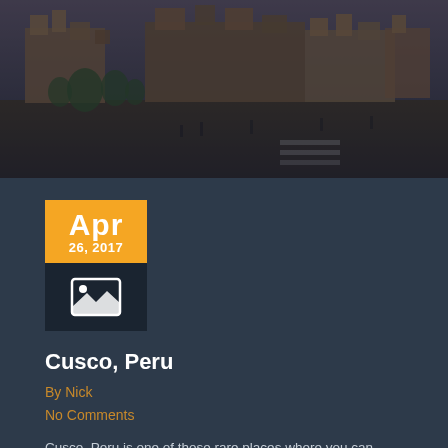[Figure (photo): Wide panoramic photo of Cusco, Peru plaza with historic cathedral and colonial buildings, people walking on cobblestone street, overcast sky]
[Figure (other): Date badge showing Apr 26, 2017 with orange background and image icon below on dark background]
Cusco, Peru
By Nick
No Comments
Cusco, Peru is one of those rare places where you can FEEL the electricity, one of those iconic locales...